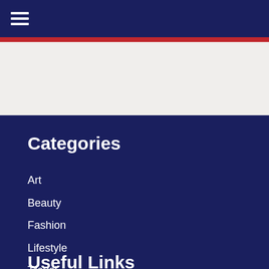☰
Categories
Art
Beauty
Fashion
Lifestyle
Travel
Useful Links